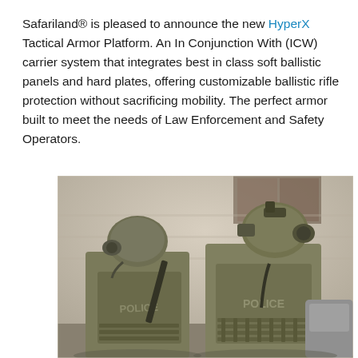Safariland® is pleased to announce the new HyperX Tactical Armor Platform. An In Conjunction With (ICW) carrier system that integrates best in class soft ballistic panels and hard plates, offering customizable ballistic rifle protection without sacrificing mobility. The perfect armor built to meet the needs of Law Enforcement and Safety Operators.
[Figure (photo): Two law enforcement officers in tactical gear with POLICE-labeled body armor and helmets, viewed from behind.]